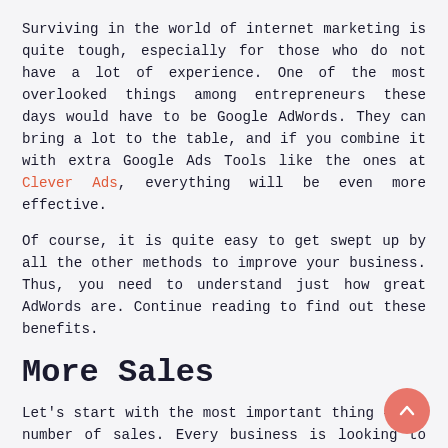Surviving in the world of internet marketing is quite tough, especially for those who do not have a lot of experience. One of the most overlooked things among entrepreneurs these days would have to be Google AdWords. They can bring a lot to the table, and if you combine it with extra Google Ads Tools like the ones at Clever Ads, everything will be even more effective.
Of course, it is quite easy to get swept up by all the other methods to improve your business. Thus, you need to understand just how great AdWords are. Continue reading to find out these benefits.
More Sales
Let's start with the most important thing – the number of sales. Every business is looking to make money by selling their products or services. And Google AdWords definitely plays the part of boosting conversions.